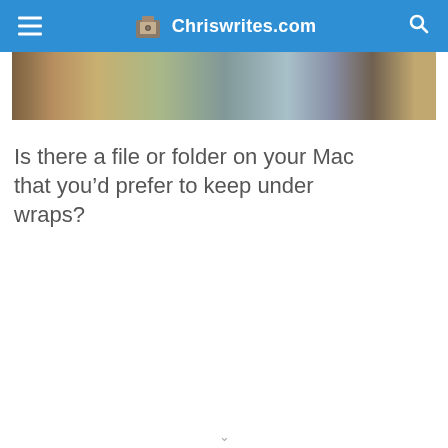Chriswrites.com
[Figure (photo): Partial image strip showing a blurred/cropped photograph banner]
Is there a file or folder on your Mac that you’d prefer to keep under wraps?